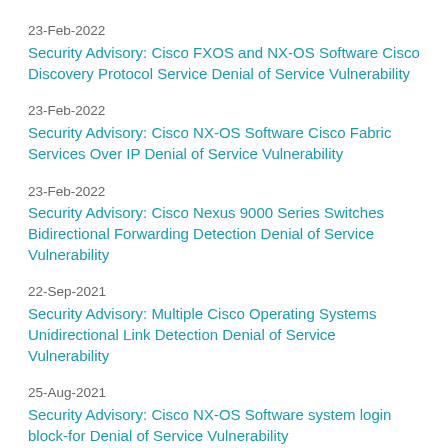23-Feb-2022
Security Advisory: Cisco FXOS and NX-OS Software Cisco Discovery Protocol Service Denial of Service Vulnerability
23-Feb-2022
Security Advisory: Cisco NX-OS Software Cisco Fabric Services Over IP Denial of Service Vulnerability
23-Feb-2022
Security Advisory: Cisco Nexus 9000 Series Switches Bidirectional Forwarding Detection Denial of Service Vulnerability
22-Sep-2021
Security Advisory: Multiple Cisco Operating Systems Unidirectional Link Detection Denial of Service Vulnerability
25-Aug-2021
Security Advisory: Cisco NX-OS Software system login block-for Denial of Service Vulnerability